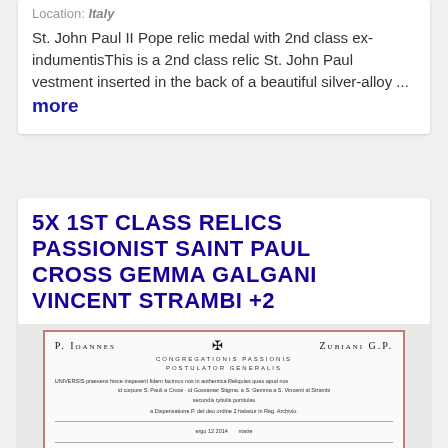Location: Italy
St. John Paul II Pope relic medal with 2nd class ex-indumentisThis is a 2nd class relic St. John Paul vestment inserted in the back of a beautiful silver-alloy ... more
5x 1st Class Relics Passionist Saint Paul Cross Gemma Galgani Vincent Strambi +2
[Figure (photo): Photo of a religious certificate with Latin text from P. Ioannes and Zubiani G.P., Congregationis Passionis Postulator Generalis, with a metal cross/crucifix in front of it]